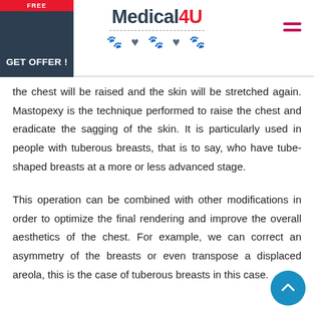Medical4U — GET OFFER!
the chest will be raised and the skin will be stretched again. Mastopexy is the technique performed to raise the chest and eradicate the sagging of the skin. It is particularly used in people with tuberous breasts, that is to say, who have tube-shaped breasts at a more or less advanced stage.
This operation can be combined with other modifications in order to optimize the final rendering and improve the overall aesthetics of the chest. For example, we can correct an asymmetry of the breasts or even transpose a displaced areola, this is the case of tuberous breasts in this case.